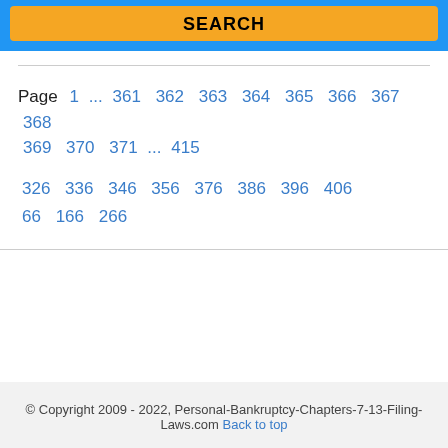[Figure (screenshot): Orange SEARCH button on blue background banner]
Page 1 ... 361 362 363 364 365 366 367 368 369 370 371 ... 415
326 336 346 356 376 386 396 406 66 166 266
© Copyright 2009 - 2022, Personal-Bankruptcy-Chapters-7-13-Filing-Laws.com Back to top